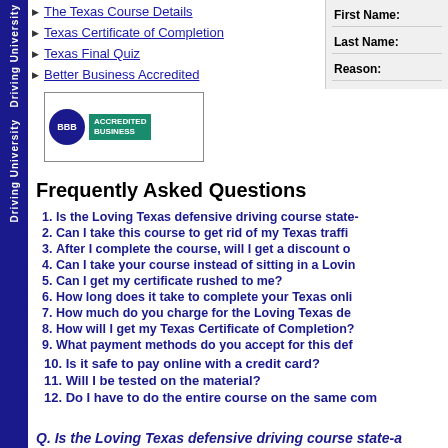The Texas Course Details
Texas Certificate of Completion
Texas Final Quiz
Better Business Accredited
[Figure (logo): BBB Accredited Business logo with teal background and BBB circle emblem]
Frequently Asked Questions
1. Is the Loving Texas defensive driving course state-...
2. Can I take this course to get rid of my Texas traffi...
3. After I complete the course, will I get a discount o...
4. Can I take your course instead of sitting in a Lovin...
5. Can I get my certificate rushed to me?
6. How long does it take to complete your Texas onli...
7. How much do you charge for the Loving Texas de...
8. How will I get my Texas Certificate of Completion?
9. What payment methods do you accept for this def...
10. Is it safe to pay online with a credit card?
11. Will I be tested on the material?
12. Do I have to do the entire course on the same com...
Q. Is the Loving Texas defensive driving course state-a...